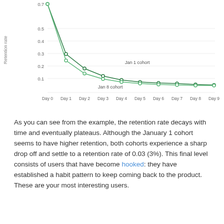[Figure (line-chart): ]
As you can see from the example, the retention rate decays with time and eventually plateaus. Although the January 1 cohort seems to have higher retention, both cohorts experience a sharp drop off and settle to a retention rate of 0.03 (3%). This final level consists of users that have become hooked: they have established a habit pattern to keep coming back to the product. These are your most interesting users.